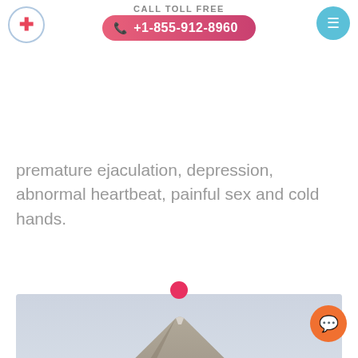CALL TOLL FREE +1-855-912-8960
premature ejaculation, depression, abnormal heartbeat, painful sex and cold hands.
[Figure (photo): Mountain landscape photograph with a snow-capped volcanic peak against a pale grey sky]
Chat support button (orange circle with chat icon)